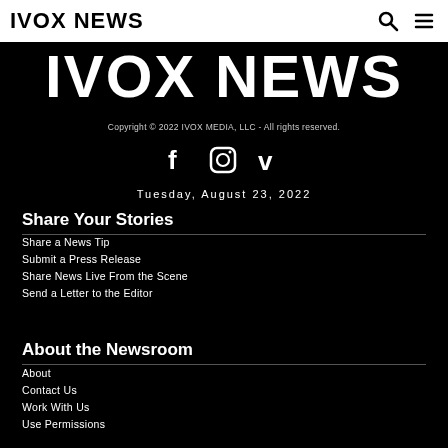IVOX NEWS
IVOX NEWS
Copyright © 2022 IVOX MEDIA, LLC - All rights reserved.
[Figure (illustration): Social media icons: Facebook, Instagram, Vimeo]
Tuesday, August 23, 2022
Share Your Stories
Share a News Tip
Submit a Press Release
Share News Live From the Scene
Send a Letter to the Editor
About the Newsroom
About
Contact Us
Work With Us
Use Permissions